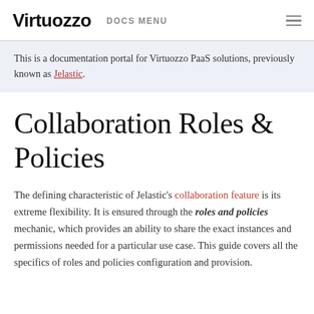Virtuozzo  DOCS MENU
This is a documentation portal for Virtuozzo PaaS solutions, previously known as Jelastic.
Collaboration Roles & Policies
The defining characteristic of Jelastic's collaboration feature is its extreme flexibility. It is ensured through the roles and policies mechanic, which provides an ability to share the exact instances and permissions needed for a particular use case. This guide covers all the specifics of roles and policies configuration and provision.